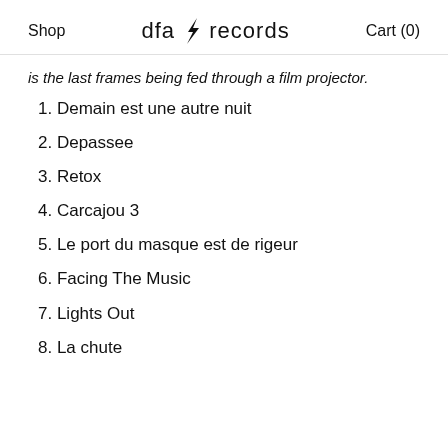Shop   dfa ⚡ records   Cart (0)
is the last frames being fed through a film projector.
1. Demain est une autre nuit
2. Depassee
3. Retox
4. Carcajou 3
5. Le port du masque est de rigeur
6. Facing The Music
7. Lights Out
8. La chute